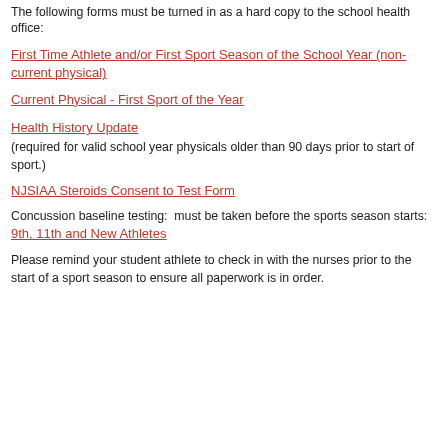The following forms must be turned in as a hard copy to the school health office:
First Time Athlete and/or First Sport Season of the School Year (non-current physical)
Current Physical - First Sport of the Year
Health History Update
(required for valid school year physicals older than 90 days prior to start of sport.)
NJSIAA Steroids Consent to Test Form
Concussion baseline testing: must be taken before the sports season starts:
9th, 11th and New Athletes
Please remind your student athlete to check in with the nurses prior to the start of a sport season to ensure all paperwork is in order.